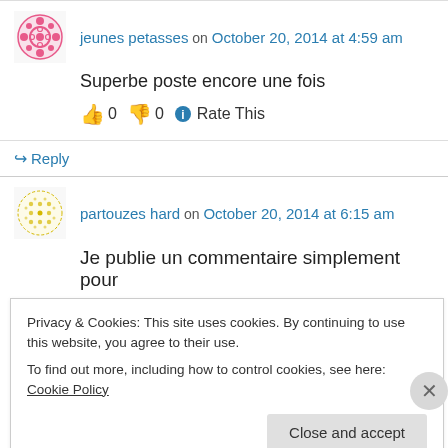jeunes petasses on October 20, 2014 at 4:59 am
Superbe poste encore une fois
👍 0 👎 0 ℹ Rate This
↪ Reply
partouzes hard on October 20, 2014 at 6:15 am
Je publie un commentaire simplement pour
Privacy & Cookies: This site uses cookies. By continuing to use this website, you agree to their use.
To find out more, including how to control cookies, see here: Cookie Policy
Close and accept